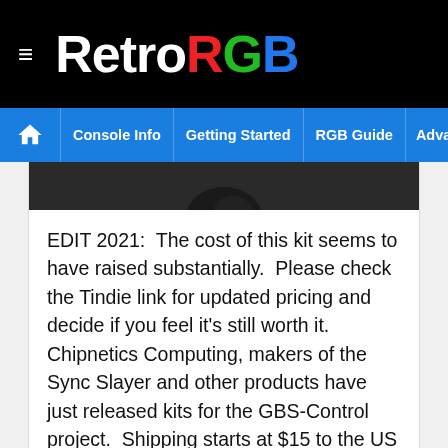RetroRGB
Console Info | Getting Started | RGB Guide | Advanced RGB Info | Ab
[Figure (photo): Dark background image strip, partially visible at top of content area]
EDIT 2021:  The cost of this kit seems to have raised substantially.  Please check the Tindie link for updated pricing and decide if you feel it's still worth it. Chipnetics Computing, makers of the Sync Slayer and other products have just released kits for the GBS-Control project.  Shipping starts at $15 to the US and [...]
RetroRGB